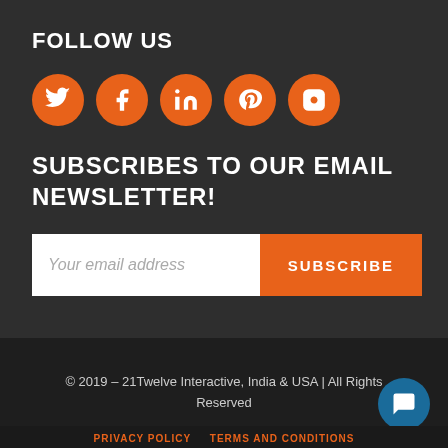FOLLOW US
[Figure (illustration): Five orange circular social media icons: Twitter, Facebook, LinkedIn, Pinterest, Instagram]
SUBSCRIBES TO OUR EMAIL NEWSLETTER!
Your email address | SUBSCRIBE
© 2019 – 21Twelve Interactive, India & USA | All Rights Reserved
PRIVACY POLICY   TERMS AND CONDITIONS